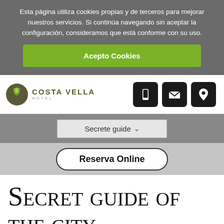Esta página utiliza cookies propias y de terceros para mejorar nuestros servicios. Si continúa navegando sin aceptar la configuración, consideramos que está conforme con su uso.
Acepto Cookies
[Figure (logo): Costa Vella Hotel logo with green plant icon]
[Figure (infographic): Three black icon buttons: mobile phone, envelope/email, location pin]
Secrete guide ▾
Reserva Online
Secret guide of the city